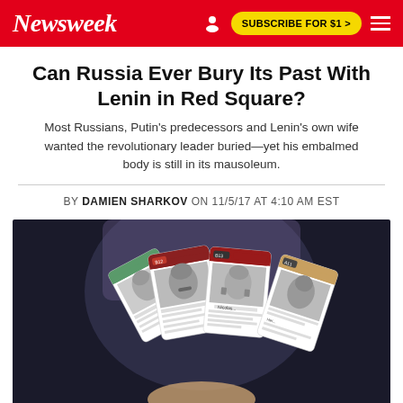Newsweek
Can Russia Ever Bury Its Past With Lenin in Red Square?
Most Russians, Putin's predecessors and Lenin's own wife wanted the revolutionary leader buried—yet his embalmed body is still in its mausoleum.
BY DAMIEN SHARKOV ON 11/5/17 AT 4:10 AM EST
[Figure (photo): A person holding a fan of playing cards featuring black and white portrait photographs of various historical figures including Stalin and others, with colored header bars on each card.]